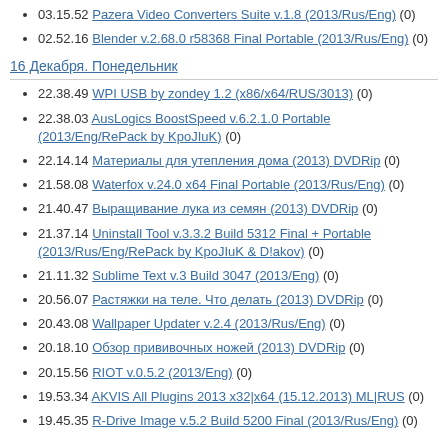03.15.52 Pazera Video Converters Suite v.1.8 (2013/Rus/Eng) (0)
02.52.16 Blender v.2.68.0 r58368 Final Portable (2013/Rus/Eng) (0)
16 Декабря. Понедельник
22.38.49 WPI USB by zondey 1.2 (x86/x64/RUS/3013) (0)
22.38.03 AusLogics BoostSpeed v.6.2.1.0 Portable (2013/Eng/RePack by KpoJIuK) (0)
22.14.14 Материалы для утепления дома (2013) DVDRip (0)
21.58.08 Waterfox v.24.0 x64 Final Portable (2013/Rus/Eng) (0)
21.40.47 Выращивание лука из семян (2013) DVDRip (0)
21.37.14 Uninstall Tool v.3.3.2 Build 5312 Final + Portable (2013/Rus/Eng/RePack by KpoJIuK & D!akov) (0)
21.11.32 Sublime Text v.3 Build 3047 (2013/Eng) (0)
20.56.07 Растяжки на теле. Что делать (2013) DVDRip (0)
20.43.08 Wallpaper Updater v.2.4 (2013/Rus/Eng) (0)
20.18.10 Обзор прививочных ножей (2013) DVDRip (0)
20.15.56 RIOT v.0.5.2 (2013/Eng) (0)
19.53.34 AKVIS All Plugins 2013 x32|x64 (15.12.2013) ML|RUS (0)
19.45.35 R-Drive Image v.5.2 Build 5200 Final (2013/Rus/Eng) (0)